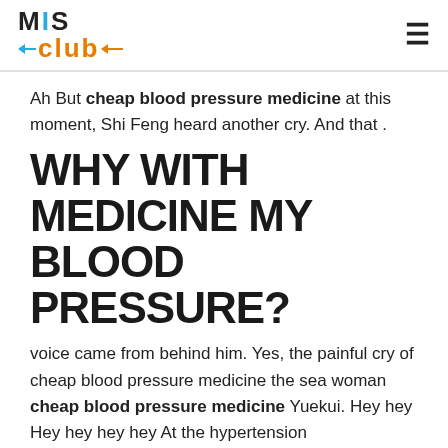MIS Club
Ah But cheap blood pressure medicine at this moment, Shi Feng heard another cry. And that .
WHY WITH MEDICINE MY BLOOD PRESSURE?
voice came from behind him. Yes, the painful cry of cheap blood pressure medicine the sea woman cheap blood pressure medicine Yuekui. Hey hey Hey hey hey hey At the hypertension pharmacological treatment cheap blood pressure medicine same time, there were also evil hey laughs.Shi Feng is right hand moved violently again, grabbed the figure above his